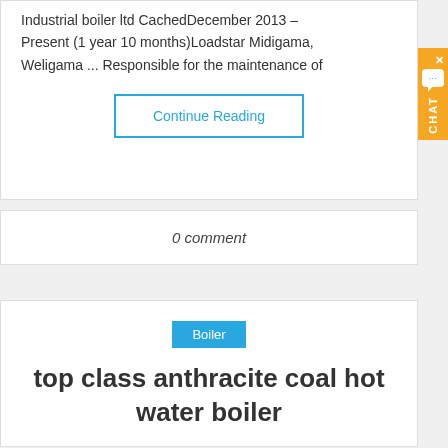Industrial boiler ltd CachedDecember 2013 – Present (1 year 10 months)Loadstar Midigama, Weligama ... Responsible for the maintenance of
Continue Reading
0 comment
Boiler
top class anthracite coal hot water boiler